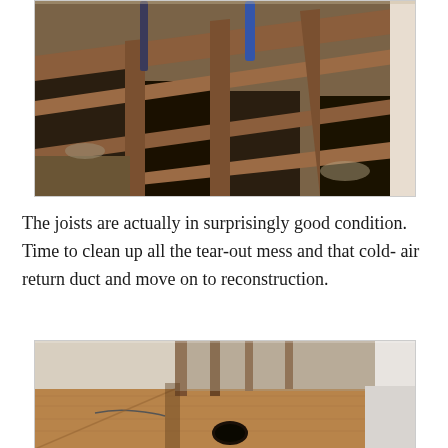[Figure (photo): Interior photo showing exposed floor joists and subfloor framing with wooden beams visible, some plumbing pipes in background, during renovation tearout]
The joists are actually in surprisingly good condition. Time to clean up all the tear-out mess and that cold-air return duct and move on to reconstruction.
[Figure (photo): Interior photo showing a room with exposed subfloor plywood, wall studs visible, beige drywall, and a hole cut in the plywood floor during reconstruction]